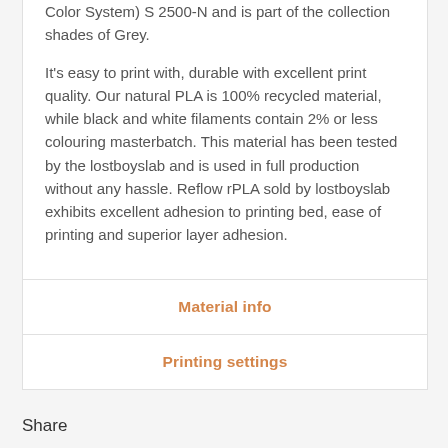Color System) S 2500-N and is part of the collection shades of Grey.
It's easy to print with, durable with excellent print quality. Our natural PLA is 100% recycled material, while black and white filaments contain 2% or less colouring masterbatch. This material has been tested by the lostboyslab and is used in full production without any hassle. Reflow rPLA sold by lostboyslab exhibits excellent adhesion to printing bed, ease of printing and superior layer adhesion.
Material info
Printing settings
Share